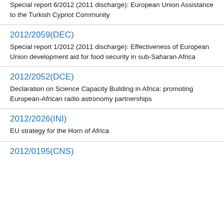Special report 6/2012 (2011 discharge): European Union Assistance to the Turkish Cypriot Community
2012/2059(DEC)
Special report 1/2012 (2011 discharge): Effectiveness of European Union development aid for food security in sub-Saharan Africa
2012/2052(DCE)
Declaration on Science Capacity Building in Africa: promoting European-African radio astronomy partnerships
2012/2026(INI)
EU strategy for the Horn of Africa
2012/0195(CNS)